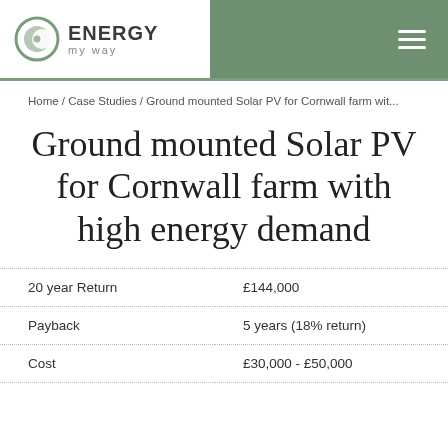ENERGY my way
Home / Case Studies / Ground mounted Solar PV for Cornwall farm wit...
Ground mounted Solar PV for Cornwall farm with high energy demand
| 20 year Return | £144,000 |
| Payback | 5 years (18% return) |
| Cost | £30,000 - £50,000 |